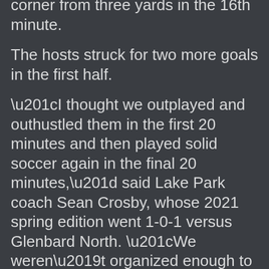corner from three yards in the 16th minute.
The hosts struck for two more goals in the first half.
“I thought we outplayed and outhustled them in the first 20 minutes and then played solid soccer again in the final 20 minutes,” said Lake Park coach Sean Crosby, whose 2021 spring edition went 1-0-1 versus Glenbard North. “We weren’t organized enough to stop those first two goals.
"Glenbard North’s counterattack showed up after our strong start. They…